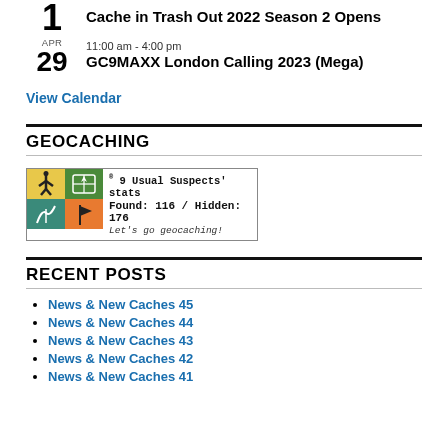APR 1 — Cache in Trash Out 2022 Season 2 Opens
APR 29 — 11:00 am - 4:00 pm — GC9MAXX London Calling 2023 (Mega)
View Calendar
GEOCACHING
[Figure (other): Geocaching stats badge showing icons and text: '9 Usual Suspects' stats Found: 116 / Hidden: 176 Let's go geocaching!']
RECENT POSTS
News & New Caches 45
News & New Caches 44
News & New Caches 43
News & New Caches 42
News & New Caches 41